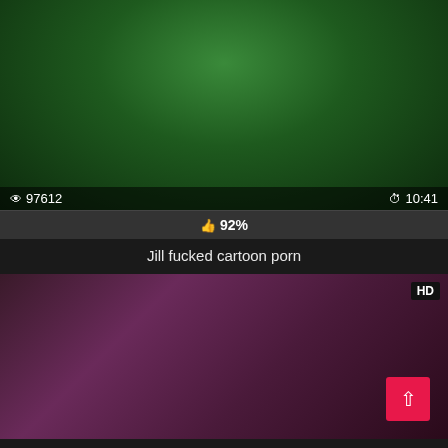[Figure (screenshot): Video thumbnail with green-tinted scene, view count 97612, duration 10:41]
92%
Jill fucked cartoon porn
[Figure (screenshot): Second video thumbnail with purple-tinted scene, HD badge, back-to-top button]